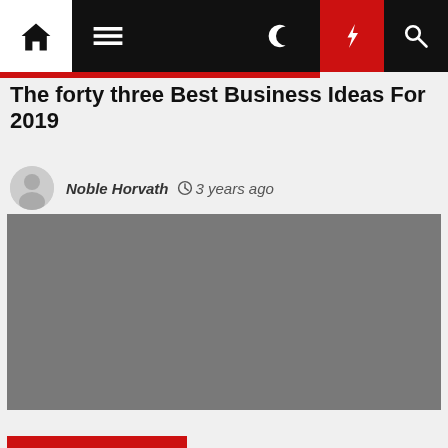Navigation bar with home, menu, moon, flash, and search icons
The forty three Best Business Ideas For 2019
Noble Horvath  3 years ago
[Figure (photo): Gray placeholder image for article hero image]
[Figure (other): Red partial bar at bottom of page]